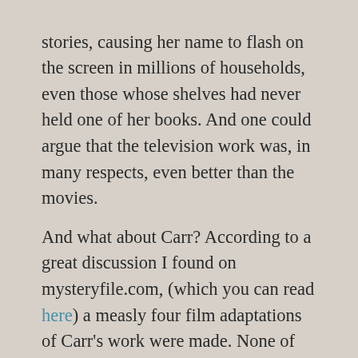stories, causing her name to flash on the screen in millions of households, even those whose shelves had never held one of her books. And one could argue that the television work was, in many respects, even better than the movies.
And what about Carr? According to a great discussion I found on mysteryfile.com, (which you can read here) a measly four film adaptations of Carr's work were made. None of these included Dr. Fell or Sir Henry Merrivale, although you have to wonder if there's an equivalent to David Suchet or Joan Hickson in the acting world who could play either sleuth. The discussion went on to suggest the difficulties inherent in putting a locked room mystery on the screen, as well as the general apathy British producers have felt toward Carr, an American writer. (And American producers seem to shy away from